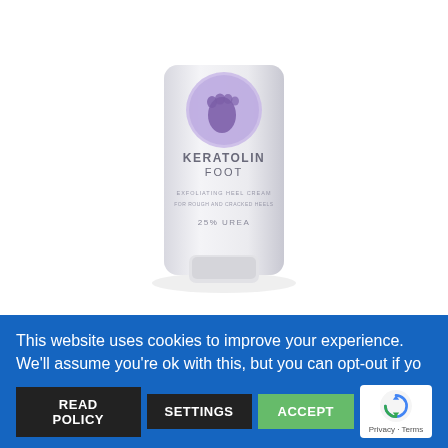[Figure (photo): Product photo of Keratolin Foot Exfoliating Heel Cream tube with purple foot logo, white packaging showing KERATOLIN FOOT, EXFOLIATING HEEL CREAM, 25% UREA text]
biotrade KERATOLIN FOOT Exfoliating Heel Cream 25% Urea 50 ml
€8,99  €7,95
This website uses cookies to improve your experience. We'll assume you're ok with this, but you can opt-out if yo